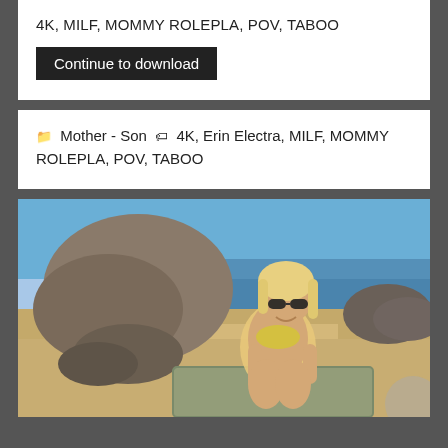4K, MILF, MOMMY ROLEPLA, POV, TABOO
Continue to download
Mother - Son  4K, Erin Electra, MILF, MOMMY ROLEPLA, POV, TABOO
[Figure (photo): Woman in yellow bikini and sunglasses posing on a sandy beach with rocks and ocean in background]